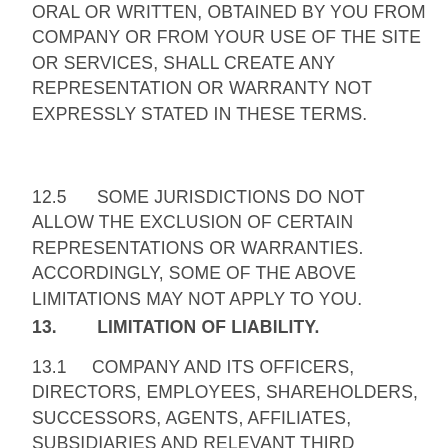ORAL OR WRITTEN, OBTAINED BY YOU FROM COMPANY OR FROM YOUR USE OF THE SITE OR SERVICES, SHALL CREATE ANY REPRESENTATION OR WARRANTY NOT EXPRESSLY STATED IN THESE TERMS.
12.5      SOME JURISDICTIONS DO NOT ALLOW THE EXCLUSION OF CERTAIN REPRESENTATIONS OR WARRANTIES. ACCORDINGLY, SOME OF THE ABOVE LIMITATIONS MAY NOT APPLY TO YOU.
13.        LIMITATION OF LIABILITY.
13.1       COMPANY AND ITS OFFICERS, DIRECTORS, EMPLOYEES, SHAREHOLDERS, SUCCESSORS, AGENTS, AFFILIATES, SUBSIDIARIES AND RELEVANT THIRD PARTIES INCLUDING ADVERTISERS, DISTRIBUTION PARTNERS, REFERRAL PARTNERS, SERVICE